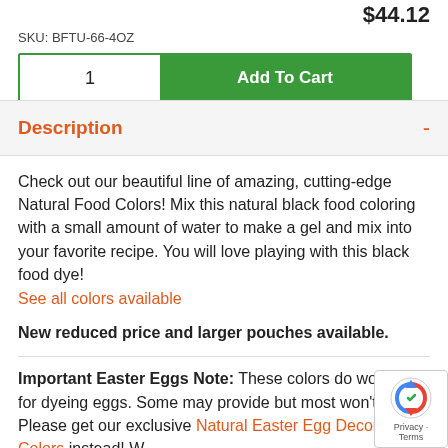$44.12
SKU: BFTU-66-4OZ
1  Add To Cart
Description -
Check out our beautiful line of amazing, cutting-edge Natural Food Colors! Mix this natural black food coloring with a small amount of water to make a gel and mix into your favorite recipe. You will love playing with this black food dye!
See all colors available
New reduced price and larger pouches available.
Important Easter Eggs Note: These colors do work well for dyeing eggs. Some may provide but most won't stick. Please get our exclusive Natural Easter Egg Decorating Colors instead!